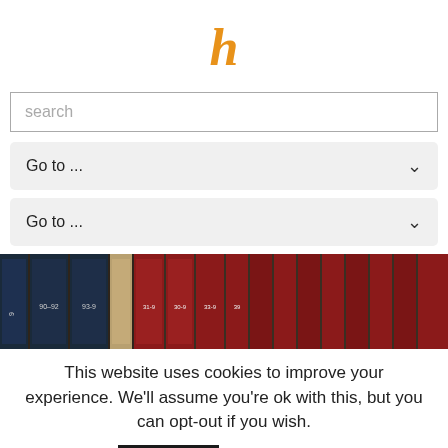[Figure (logo): Italic bold orange letter 'h' logo]
search
Go to ...
Go to ...
[Figure (photo): Row of law books on a shelf with numbered spines (e.g. 90-92, 93-94, etc.)]
This website uses cookies to improve your experience. We'll assume you're ok with this, but you can opt-out if you wish.
Accept
Read More